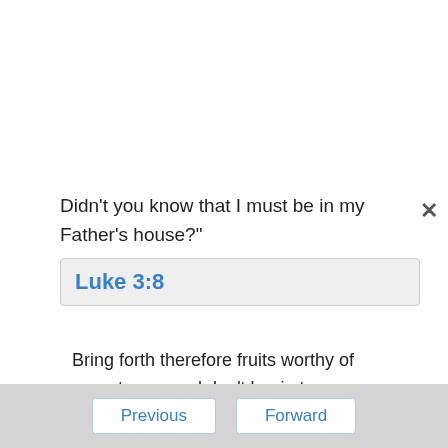Didn't you know that I must be in my Father's house?"
Luke 3:8
Bring forth therefore fruits worthy of repentance, and don't begin to say among yourselves, 'We have Abraham for our father;' for I tell you that God is able to raise up children to Abraham from these stones!
Previous  Forward